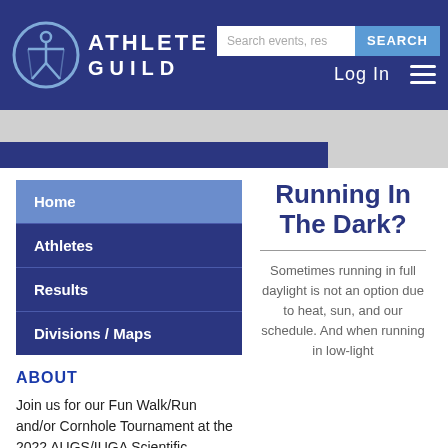ATHLETE GUILD — Search events, res… SEARCH | Log In ☰
Home
Athletes
Results
Divisions / Maps
ABOUT
Join us for our Fun Walk/Run and/or Cornhole Tournament at the 2022 AUGS/IUGA Scientific Meeting as we raise
Running In The Dark?
Sometimes running in full daylight is not an option due to heat, sun, and our schedule. And when running in low-light